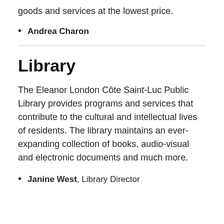goods and services at the lowest price.
Andrea Charon
Library
The Eleanor London Côte Saint-Luc Public Library provides programs and services that contribute to the cultural and intellectual lives of residents. The library maintains an ever-expanding collection of books, audio-visual and electronic documents and much more.
Janine West, Library Director